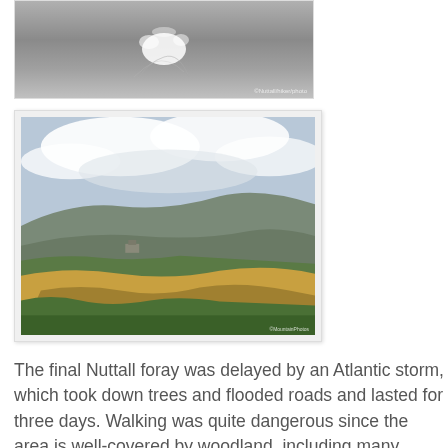[Figure (photo): Aerial or close-up photo showing frost or snow patterns on a dark surface, with white floral/crystal shapes visible.]
[Figure (photo): Landscape photo of open moorland with golden-brown grasses in the foreground, green hillsides, and rolling hills under a cloudy sky in the background.]
The final Nuttall foray was delayed by an Atlantic storm, which took down trees and flooded roads and lasted for three days. Walking was quite dangerous since the area is well-covered by woodland, including many veteran oak trees, from which huge lumps of timber litterred the roads and whioch would have ended a bagging career should one such lump land